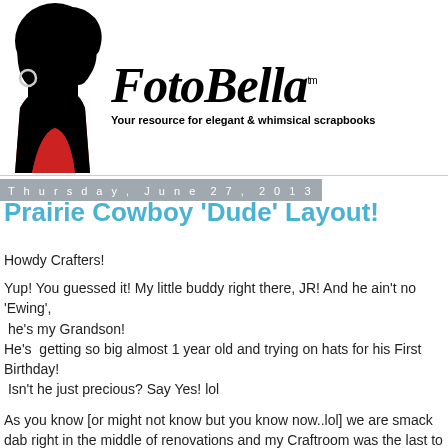[Figure (logo): FotoBella blog header with a silhouette of a woman with an afro and red top on the left, and the stylized script text 'FotoBella tm' with tagline 'Your resource for elegant & whimsical scrapbooks' on the right]
Thursday, June 27, 2013
Prairie Cowboy 'Dude' Layout!
Howdy Crafters!
Yup!  You guessed it!  My little buddy right there, JR!  And he ain't no 'Ewing',  he's my Grandson!
He's  getting so big almost 1 year old and trying on hats for his First Birthday!  Isn't he just precious?  Say Yes!  lol
As you know [or might not know but you know now..lol] we are smack dab right in the middle of renovations and my Craftroom was the last to be demolished but when I saw this photo I just had to Scrap it!